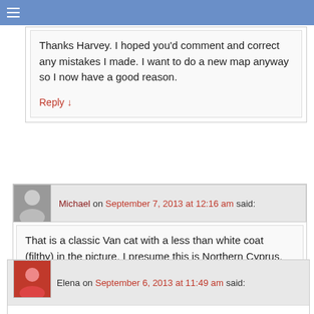☰
Thanks Harvey. I hoped you'd comment and correct any mistakes I made. I want to do a new map anyway so I now have a good reason.
Reply ↓
Michael on September 7, 2013 at 12:16 am said:
That is a classic Van cat with a less than white coat (filthy) in the picture. I presume this is Northern Cyprus.
Reply ↓
Elena on September 6, 2013 at 11:49 am said:
Hi Michael,
I will try to pay attention to cats when I go out now. I think